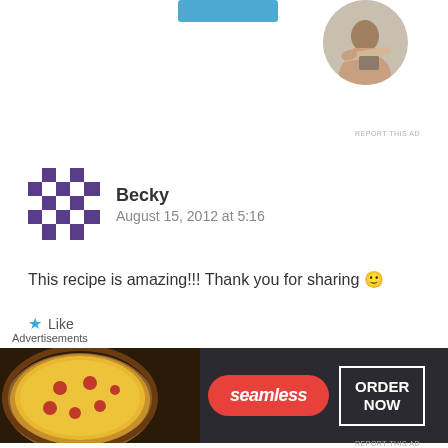[Figure (screenshot): Top portion showing a blue button and a circular profile photo of a person writing, with REPORT THIS AD text]
REPORT THIS AD
Becky
August 15, 2012 at 5:16
This recipe is amazing!!! Thank you for sharing 🙂
Like
Reply ↓
[Figure (screenshot): Partial next comment with blurred avatar and name]
Advertisements
[Figure (photo): Seamless food delivery advertisement banner showing pizza with Seamless logo and ORDER NOW button]